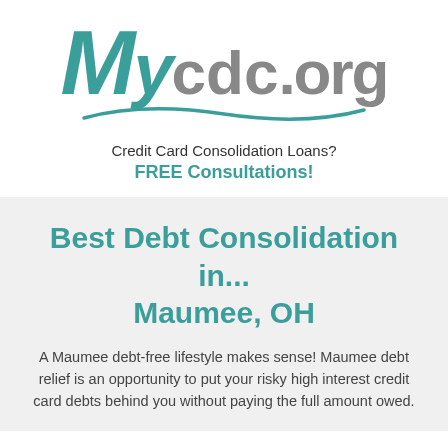[Figure (logo): MyCDC.org logo with teal 'MY' in italic bold, gray 'CDC.ORG' text, and a teal wave underline]
Credit Card Consolidation Loans?
FREE Consultations!
Best Debt Consolidation in... Maumee, OH
A Maumee debt-free lifestyle makes sense! Maumee debt relief is an opportunity to put your risky high interest credit card debts behind you without paying the full amount owed.